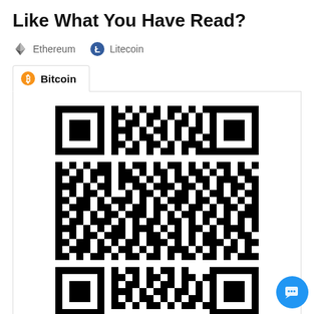Like What You Have Read?
Ethereum  Litecoin
Bitcoin
[Figure (other): Bitcoin QR code for donations]